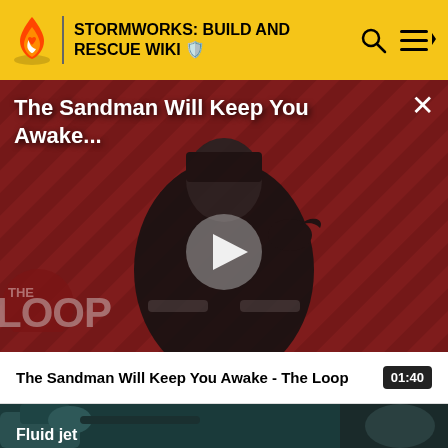STORMWORKS: BUILD AND RESCUE WIKI
[Figure (screenshot): Video thumbnail for 'The Sandman Will Keep You Awake - The Loop' showing a dark figure in a black cape against a red and black diagonal striped background with THE LOOP logo overlay. A play button is visible in the center.]
The Sandman Will Keep You Awake - The Loop  01:40
[Figure (screenshot): Partial video thumbnail showing dark teal background with mechanical/industrial 3D rendered objects, labeled 'Fluid jet']